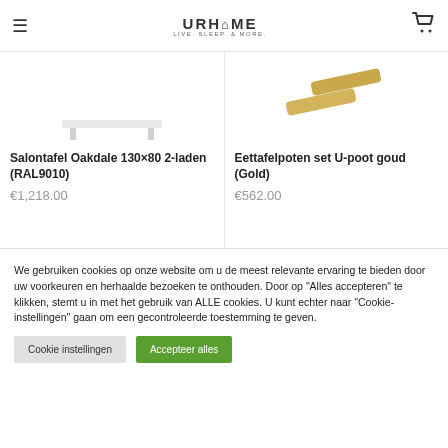URHOME LIVE. SLEEP. & MORE.
[Figure (illustration): Product image area - partial view of coffee table (Salontafel Oakdale)]
Salontafel Oakdale 130×80 2-laden (RAL9010)
€1,218.00
[Figure (photo): Product image - golden U-shaped table legs (Eettafelpoten set U-poot goud)]
Eettafelpoten set U-poot goud (Gold)
€562.00
We gebruiken cookies op onze website om u de meest relevante ervaring te bieden door uw voorkeuren en herhaalde bezoeken te onthouden. Door op "Alles accepteren" te klikken, stemt u in met het gebruik van ALLE cookies. U kunt echter naar "Cookie-instellingen" gaan om een gecontroleerde toestemming te geven.
Cookie instellingen
Accepteer alles